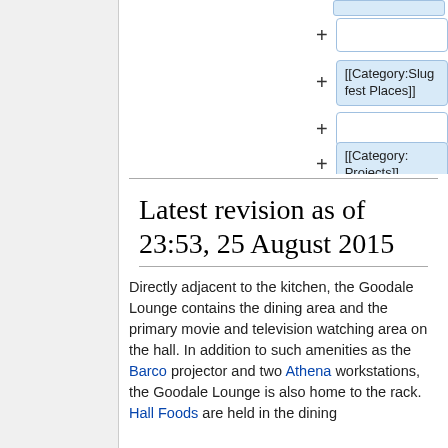[Figure (screenshot): Wikipedia-style diff editor panel showing category boxes with plus signs: empty box, [[Category:Slugfest Places]], empty box, [[Category:Projects]]]
Latest revision as of 23:53, 25 August 2015
Directly adjacent to the kitchen, the Goodale Lounge contains the dining area and the primary movie and television watching area on the hall. In addition to such amenities as the Barco projector and two Athena workstations, the Goodale Lounge is also home to the rack. Hall Foods are held in the dining